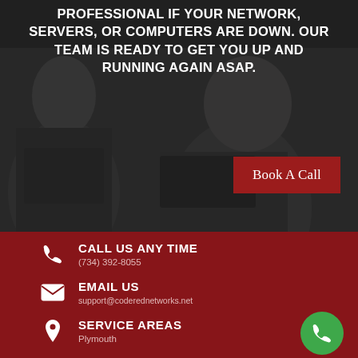[Figure (photo): Dark background photo of IT support professionals working at computers with headsets, with dark overlay]
PROFESSIONAL IF YOUR NETWORK, SERVERS, OR COMPUTERS ARE DOWN. OUR TEAM IS READY TO GET YOU UP AND RUNNING AGAIN ASAP.
Book A Call
CALL US ANY TIME
(734) 392-8055
EMAIL US
support@coderednetworks.net
SERVICE AREAS
Plymouth